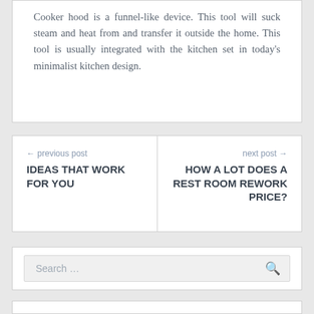Cooker hood is a funnel-like device. This tool will suck steam and heat from and transfer it outside the home. This tool is usually integrated with the kitchen set in today's minimalist kitchen design.
← previous post IDEAS THAT WORK FOR YOU
next post → HOW A LOT DOES A REST ROOM REWORK PRICE?
Search …